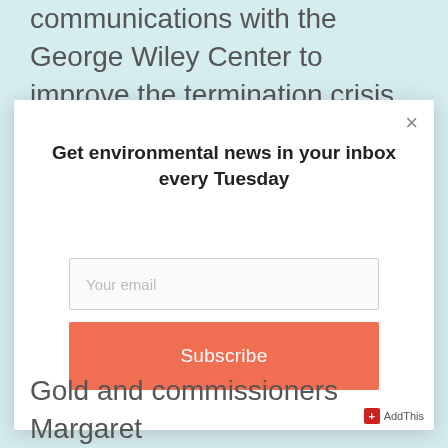communications with the George Wiley Center to improve the termination crisis
[Figure (screenshot): Email newsletter subscription modal popup with title 'Get environmental news in your inbox every Tuesday', an email input field, and an orange Subscribe button]
Gold and commissioners Margaret